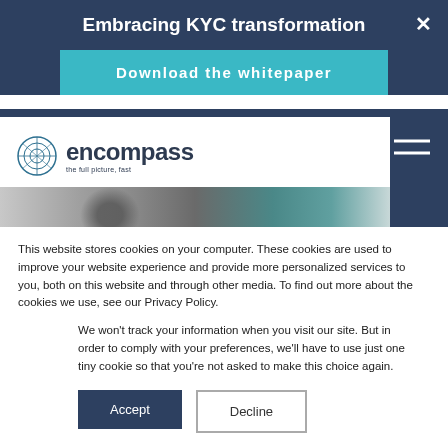Embracing KYC transformation
Download the whitepaper
[Figure (screenshot): Encompass website screenshot showing logo with circle icon and tagline 'the full picture, fast', hamburger menu icon, and partial photo of a person]
This website stores cookies on your computer. These cookies are used to improve your website experience and provide more personalized services to you, both on this website and through other media. To find out more about the cookies we use, see our Privacy Policy.
We won't track your information when you visit our site. But in order to comply with your preferences, we'll have to use just one tiny cookie so that you're not asked to make this choice again.
Accept
Decline